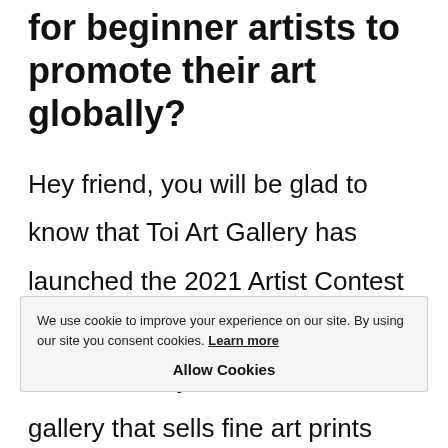for beginner artists to promote their art globally?
Hey friend, you will be glad to know that Toi Art Gallery has launched the 2021 Artist Contest to promote his/her art worldwide. Toi Art Gallery is an online art gallery that sells fine art prints and features artists from all over the world. Established in 2015 in California, Toi Art Gallery is dedicated to promoting art by curating artworks by artists from different parts of the globe and creating a community of
We use cookie to improve your experience on our site. By using our site you consent cookies. Learn more
Allow Cookies